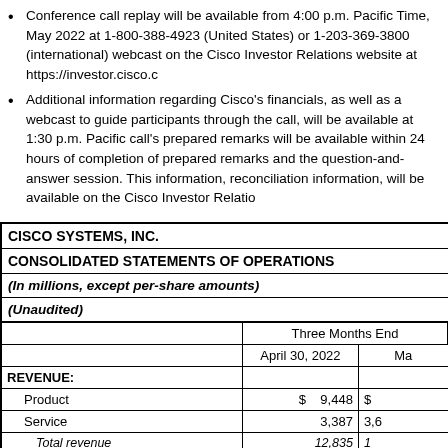Conference call replay will be available from 4:00 p.m. Pacific Time, May 2022 at 1-800-388-4923 (United States) or 1-203-369-3800 (international) webcast on the Cisco Investor Relations website at https://investor.cisco.c
Additional information regarding Cisco's financials, as well as a webcast to guide participants through the call, will be available at 1:30 p.m. Pacific call's prepared remarks will be available within 24 hours of completion of prepared remarks and the question-and-answer session. This information, reconciliation information, will be available on the Cisco Investor Relatio
|  | Three Months Ended |  |
| --- | --- | --- |
|  | April 30, 2022 | Ma |
| REVENUE: |  |  |
| Product | $ 9,448 | $ |
| Service | 3,387 | 3,6 |
| Total revenue | 12,835 | 12 |